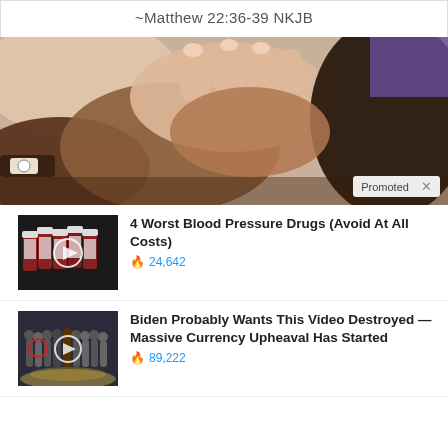~Matthew 22:36-39 NKJB
[Figure (photo): Photo of multiple hands of different skin tones stacked together in a unity gesture, one person wearing a black watch.]
Promoted X
[Figure (photo): Thumbnail of prescription pill bottles arranged in a row with a video play button overlay.]
4 Worst Blood Pressure Drugs (Avoid At All Costs)
24,642
[Figure (photo): Thumbnail of a group of people in a formal setting with a red circle and video play button overlay.]
Biden Probably Wants This Video Destroyed — Massive Currency Upheaval Has Started
89,222